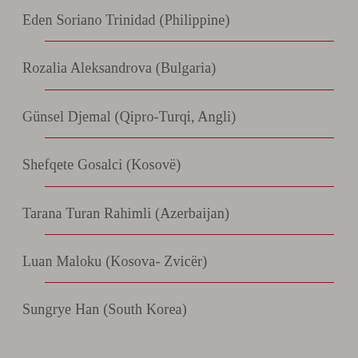Eden Soriano Trinidad (Philippine)
Rozalia Aleksandrova (Bulgaria)
Günsel Djemal (Qipro-Turqi, Angli)
Shefqete Gosalci (Kosovë)
Tarana Turan Rahimli (Azerbaijan)
Luan Maloku (Kosova- Zvicër)
Sungrye Han (South Korea)